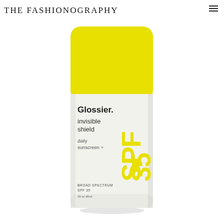THE FASHIONOGRAPHY
[Figure (photo): Glossier Invisible Shield daily sunscreen SPF 35 product bottle with yellow cap and white body, showing brand name, product name, and SPF 35 text rotated on the side. BROAD SPECTRUM SPF 35, 1fl oz 30ml.]